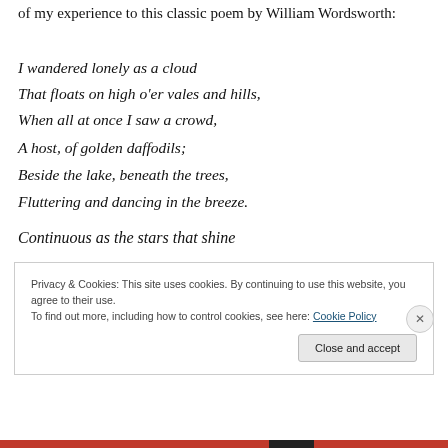of my experience to this classic poem by William Wordsworth:
I wandered lonely as a cloud
That floats on high o'er vales and hills,
When all at once I saw a crowd,
A host, of golden daffodils;
Beside the lake, beneath the trees,
Fluttering and dancing in the breeze.
Continuous as the stars that shine
Privacy & Cookies: This site uses cookies. By continuing to use this website, you agree to their use. To find out more, including how to control cookies, see here: Cookie Policy